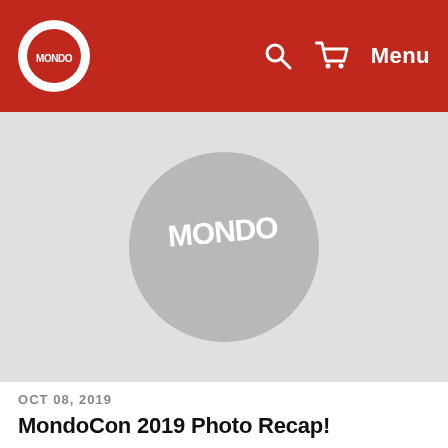Mondo — Menu
[Figure (logo): Mondo placeholder image with grey circle and Mondo logo text on light grey background]
OCT 08, 2019
MondoCon 2019 Photo Recap!
[Figure (logo): Mondo placeholder image with grey circle and Mondo logo text on light grey background (partially visible, second article)]